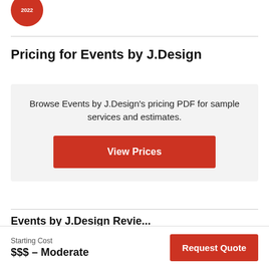[Figure (logo): Red circular badge/logo with '2022' text]
Pricing for Events by J.Design
Browse Events by J.Design's pricing PDF for sample services and estimates.
View Prices
...partially visible section header...
Starting Cost
$$$ – Moderate
Request Quote